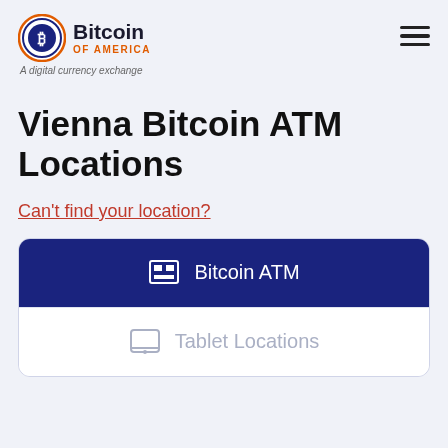[Figure (logo): Bitcoin of America logo — circular orange/blue coin icon with B symbol, text 'Bitcoin' in dark bold and 'OF AMERICA' in orange, tagline 'A digital currency exchange']
Vienna Bitcoin ATM Locations
Can't find your location?
Bitcoin ATM
Tablet Locations